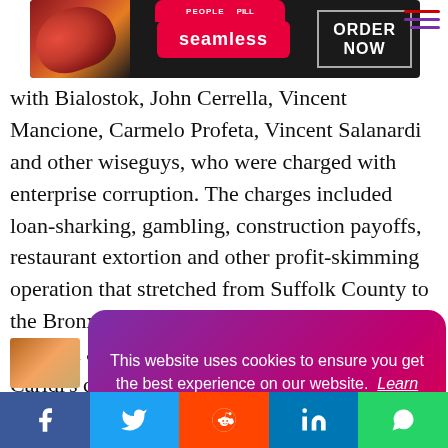[Figure (screenshot): Seamless food delivery advertisement banner with pizza image, Seamless logo in red, and ORDER NOW button]
with Bialostok, John Cerrella, Vincent Mancione, Carmelo Profeta, Vincent Salanardi and other wiseguys, who were charged with enterprise corruption. The charges included loan-sharking, gambling, construction payoffs, restaurant extortion and other profit-skimming operation that stretched from Suffolk County to the Bronx. In Dec[ember] John Cerrella and [others]. Caridi's crew [...]  House restau[rant]
[Figure (screenshot): Cookie consent popup overlay with gradient purple-to-red background saying 'This website uses cookies to ensure you get the best experience on our website. Learn more' with a 'Got it!' button]
[Figure (infographic): Social media share bar at bottom with Facebook, Twitter, Reddit, LinkedIn, and WhatsApp icons]